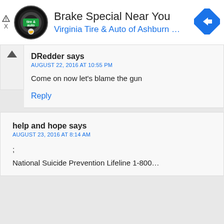[Figure (screenshot): Advertisement banner for Virginia Tire & Auto of Ashburn with logo, title 'Brake Special Near You', subtitle 'Virginia Tire & Auto of Ashburn ...', and a blue navigation arrow icon]
DRedder says
AUGUST 22, 2016 AT 10:55 PM

Come on now let’s blame the gun

Reply
help and hope says
AUGUST 23, 2016 AT 8:14 AM

;
National Suicide Prevention Lifeline 1-800...